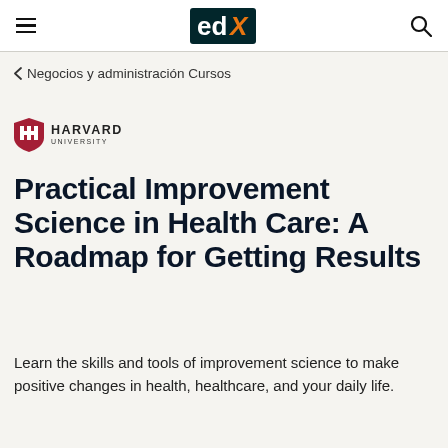edX
< Negocios y administración Cursos
[Figure (logo): Harvard University shield logo with HARVARD UNIVERSITY text]
Practical Improvement Science in Health Care: A Roadmap for Getting Results
Learn the skills and tools of improvement science to make positive changes in health, healthcare, and your daily life.